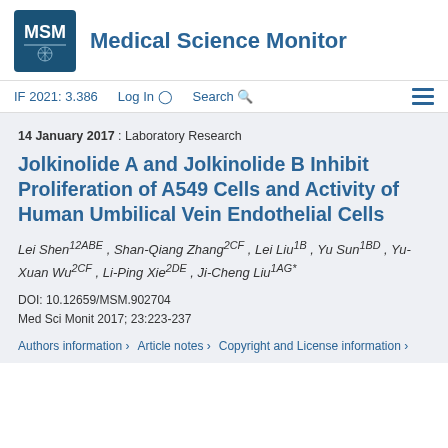Medical Science Monitor
IF 2021: 3.386   Log In   Search
14 January 2017 : Laboratory Research
Jolkinolide A and Jolkinolide B Inhibit Proliferation of A549 Cells and Activity of Human Umbilical Vein Endothelial Cells
Lei Shen12ABE , Shan-Qiang Zhang2CF , Lei Liu1B , Yu Sun1BD , Yu-Xuan Wu2CF , Li-Ping Xie2DE , Ji-Cheng Liu1AG*
DOI: 10.12659/MSM.902704
Med Sci Monit 2017; 23:223-237
Authors information >   Article notes >   Copyright and License information >